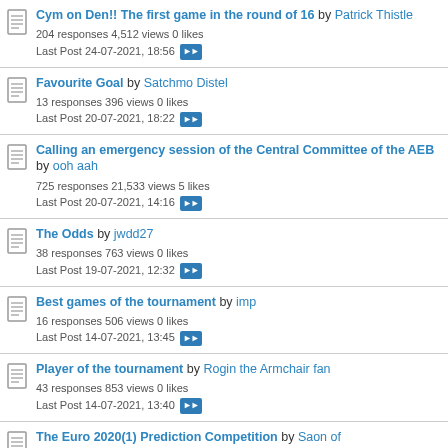Cym on Den!! The first game in the round of 16 by Patrick Thistle — 204 responses 4,512 views 0 likes — Last Post 24-07-2021, 18:56
Favourite Goal by Satchmo Distel — 13 responses 396 views 0 likes — Last Post 20-07-2021, 18:22
Calling an emergency session of the Central Committee of the AEB by ooh aah — 725 responses 21,533 views 5 likes — Last Post 20-07-2021, 14:16
The Odds by jwdd27 — 38 responses 763 views 0 likes — Last Post 19-07-2021, 12:32
Best games of the tournament by imp — 16 responses 506 views 0 likes — Last Post 14-07-2021, 13:45
Player of the tournament by Rogin the Armchair fan — 43 responses 853 views 0 likes — Last Post 14-07-2021, 13:40
The Euro 2020(1) Prediction Competition by Saon of...